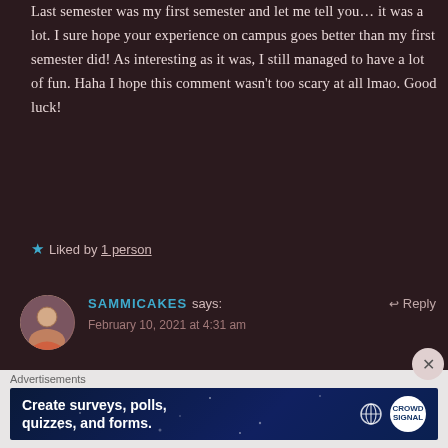Last semester was my first semester and let me tell you… it was a lot. I sure hope your experience on campus goes better than my first semester did! As interesting as it was, I still managed to have a lot of fun. Haha I hope this comment wasn't too scary at all lmao. Good luck!
★ Liked by 1 person
SAMMICAKES says: ↩ Reply
February 10, 2021 at 4:31 am
Advertisements
Create surveys, polls, quizzes, and forms.